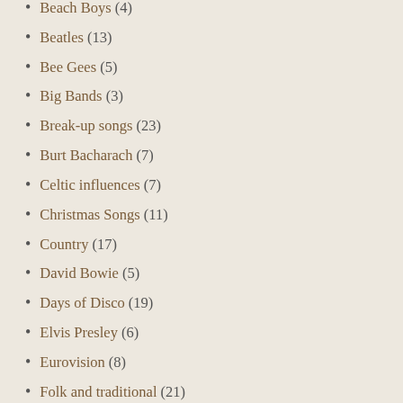Beach Boys (4)
Beatles (13)
Bee Gees (5)
Big Bands (3)
Break-up songs (23)
Burt Bacharach (7)
Celtic influences (7)
Christmas Songs (11)
Country (17)
David Bowie (5)
Days of Disco (19)
Elvis Presley (6)
Eurovision (8)
Folk and traditional (21)
Football anthems (8)
Full Moon Calendar in Song (24)